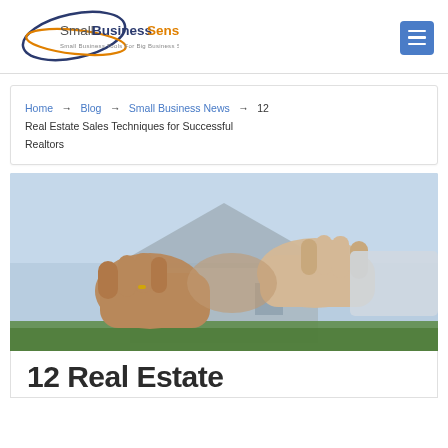[Figure (logo): SmallBusinessSense logo with tagline 'Small Business Tools For Big Business Success']
Home → Blog → Small Business News → 12 Real Estate Sales Techniques for Successful Realtors
[Figure (photo): Two people shaking hands in front of a house, representing a real estate transaction]
12 Real Estate